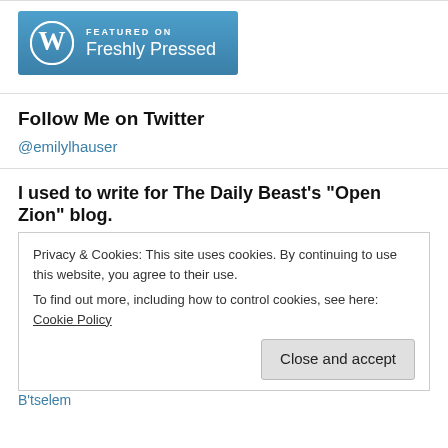[Figure (logo): WordPress 'Featured on Freshly Pressed' badge with WordPress logo on blue background]
Follow Me on Twitter
@emilylhauser
I used to write for The Daily Beast's "Open Zion" blog.
Privacy & Cookies: This site uses cookies. By continuing to use this website, you agree to their use.
To find out more, including how to control cookies, see here: Cookie Policy
Close and accept
B'tselem